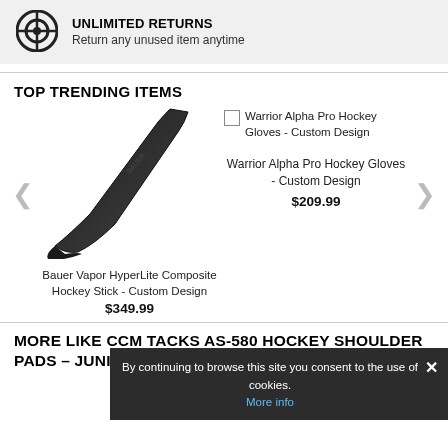[Figure (logo): Circular shield/return icon in black and white]
UNLIMITED RETURNS
Return any unused item anytime
TOP TRENDING ITEMS
[Figure (photo): Bauer Vapor HyperLite Composite Hockey Stick - black composite hockey stick angled on white background]
Bauer Vapor HyperLite Composite Hockey Stick - Custom Design
$349.99
[Figure (illustration): Small checkbox/thumbnail placeholder for Warrior Alpha Pro Hockey Gloves]
Warrior Alpha Pro Hockey Gloves - Custom Design
Warrior Alpha Pro Hockey Gloves - Custom Design
$209.99
By continuing to browse this site you consent to the use of cookies. More info
MORE LIKE CCM TACKS AS-580 HOCKEY SHOULDER PADS – JUNIOR